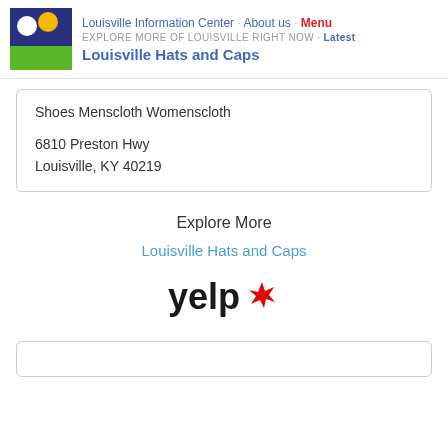Louisville Information Center · About us · Menu | EXPLORE MORE OF LOUISVILLE RIGHT NOW · Latest | Louisville Hats and Caps
Shoes Menscloth Womenscloth
6810 Preston Hwy
Louisville, KY 40219
Explore More
Louisville Hats and Caps
[Figure (logo): Yelp logo in black and red]